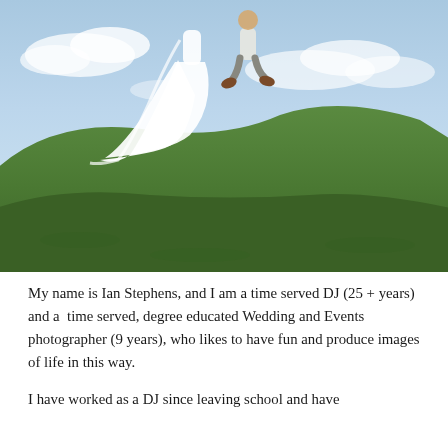[Figure (photo): Wedding photo of a bride in a long white dress and groom jumping in the air on top of a green grassy hill with a partly cloudy sky in the background.]
My name is Ian Stephens, and I am a time served DJ (25 + years) and a  time served, degree educated Wedding and Events photographer (9 years), who likes to have fun and produce images of life in this way.
I have worked as a DJ since leaving school and have